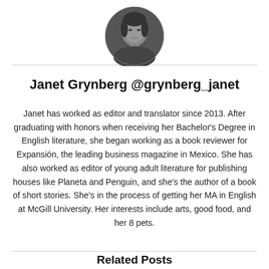[Figure (photo): Circular portrait photo of Janet Grynberg, a woman with dark hair, shown in grayscale]
Janet Grynberg @grynberg_janet
Janet has worked as editor and translator since 2013. After graduating with honors when receiving her Bachelor's Degree in English literature, she began working as a book reviewer for Expansión, the leading business magazine in Mexico. She has also worked as editor of young adult literature for publishing houses like Planeta and Penguin, and she's the author of a book of short stories. She's in the process of getting her MA in English at McGill University. Her interests include arts, good food, and her 8 pets.
Related Posts